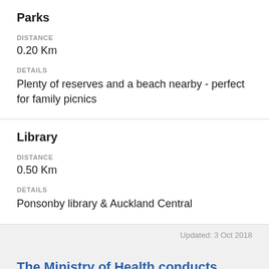Parks
DISTANCE
0.20 Km
DETAILS
Plenty of reserves and a beach nearby - perfect for family picnics
Library
DISTANCE
0.50 Km
DETAILS
Ponsonby library & Auckland Central
Updated: 3 Oct 2018
The Ministry of Health conducts regular audits of Residential Care Facilities. The